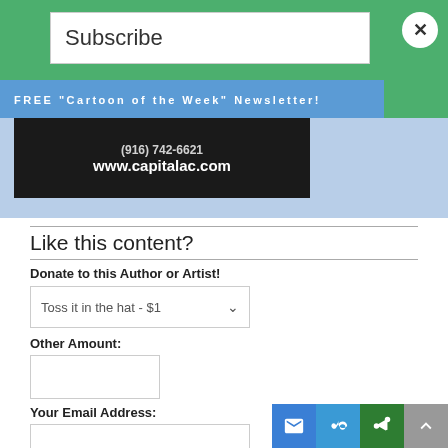Subscribe
FREE "Cartoon of the Week" Newsletter!
[Figure (photo): Dark advertisement image showing phone number and www.capitalac.com website URL in white text]
Like this content?
Donate to this Author or Artist!
Toss it in the hat - $1
Other Amount:
Your Email Address: